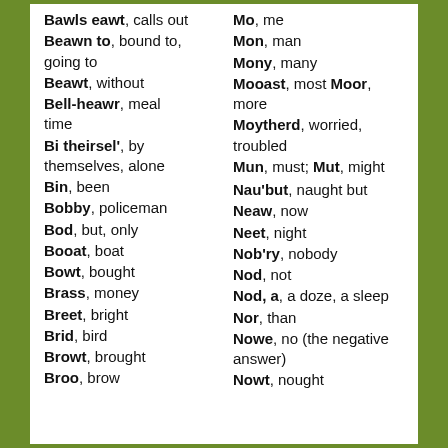Bawls eawt, calls out
Beawn to, bound to, going to
Beawt, without
Bell-heawr, meal time
Bi theirsel', by themselves, alone
Bin, been
Bobby, policeman
Bod, but, only
Booat, boat
Bowt, bought
Brass, money
Breet, bright
Brid, bird
Browt, brought
Broo, brow
Mo, me
Mon, man
Mony, many
Mooast, most Moor, more
Moytherd, worried, troubled
Mun, must; Mut, might
Nau'but, naught but
Neaw, now
Neet, night
Nob'ry, nobody
Nod, not
Nod, a, a doze, a sleep
Nor, than
Nowe, no (the negative answer)
Nowt, nought